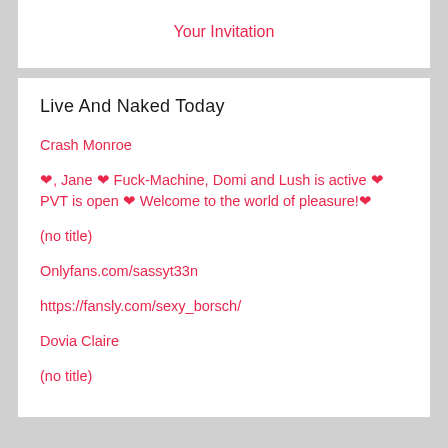Your Invitation
Live And Naked Today
Crash Monroe
❤, Jane ❤ Fuck-Machine, Domi and Lush is active ❤ PVT is open ❤ Welcome to the world of pleasure!❤
(no title)
Onlyfans.com/sassyt33n
https://fansly.com/sexy_borsch/
Dovia Claire
(no title)